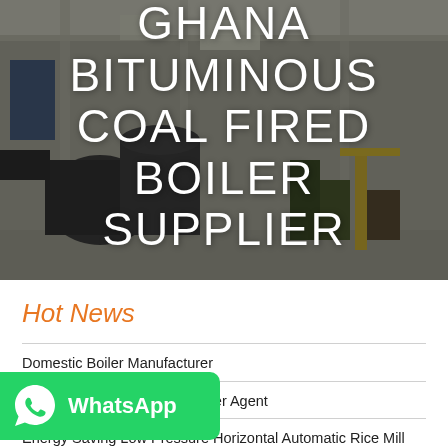[Figure (photo): Industrial boiler manufacturing facility interior with large equipment and machinery]
GHANA BITUMINOUS COAL FIRED BOILER SUPPLIER
Hot News
Domestic Boiler Manufacturer
Best selling gas hot water boiler Agent
Energy Saving Low Pressure Horizontal Automatic Rice Mill